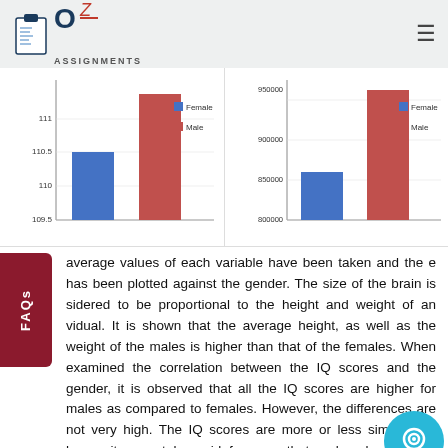OZ Assignments
[Figure (bar-chart): Average IQ by Gender]
[Figure (bar-chart): Average Weight by Gender]
average values of each variable have been taken and the e has been plotted against the gender. The size of the brain is sidered to be proportional to the height and weight of an vidual. It is shown that the average height, as well as the weight of the males is higher than that of the females. When examined the correlation between the IQ scores and the gender, it is observed that all the IQ scores are higher for males as compared to females. However, the differences are not very high. The IQ scores are more or less similar and hence it cannot be said for sure that males demonstrate higher IQ scores as compared to females.